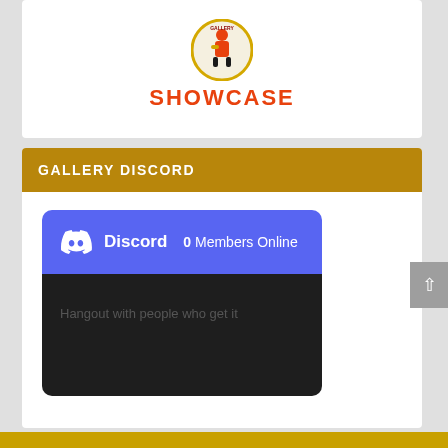[Figure (logo): Circular logo with a cartoon baseball player in red uniform, with text 'GALLERY' at the top of the circle. Below the circle, the word 'SHOWCASE' in bold red letters.]
GALLERY DISCORD
[Figure (screenshot): Discord widget showing Discord logo icon and text 'Discord' with '0 Members Online'. Below is a dark section with text 'Hangout with people who get it'.]